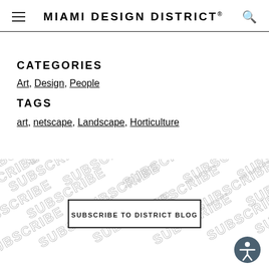MIAMI DESIGN DISTRICT
CATEGORIES
Art, Design, People
TAGS
art, netscape, Landscape, Horticulture
[Figure (infographic): Diagonal repeating SUBSCRIBE text pattern background with a centered button reading SUBSCRIBE TO DISTRICT BLOG]
[Figure (illustration): Accessibility icon — person in circle, dark grey background]